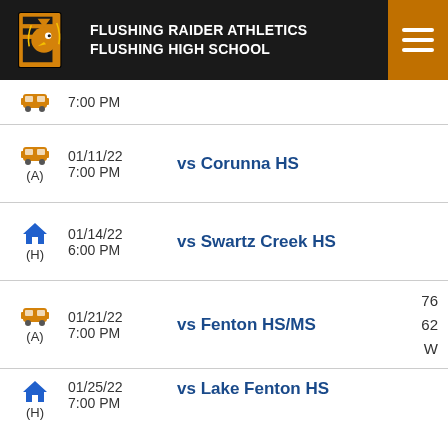FLUSHING RAIDER ATHLETICS FLUSHING HIGH SCHOOL
7:00 PM (partial row)
01/11/22 7:00 PM (A) vs Corunna HS
01/14/22 6:00 PM (H) vs Swartz Creek HS
01/21/22 7:00 PM (A) vs Fenton HS/MS — 76 62 W
01/25/22 7:00 PM (H) vs Lake Fenton HS
01/28/22 7:00 PM (H) vs Kearsley HS
02/01/22 (partial)